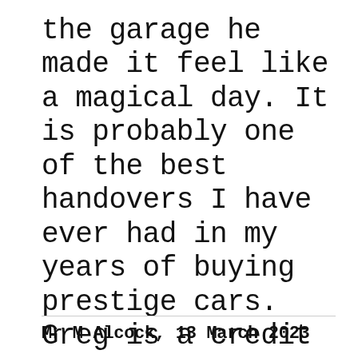the garage he made it feel like a magical day. It is probably one of the best handovers I have ever had in my years of buying prestige cars. Greg is a credit to your organisation. Thank you for everything. ””
Mr M Alcock, 13 March 2023